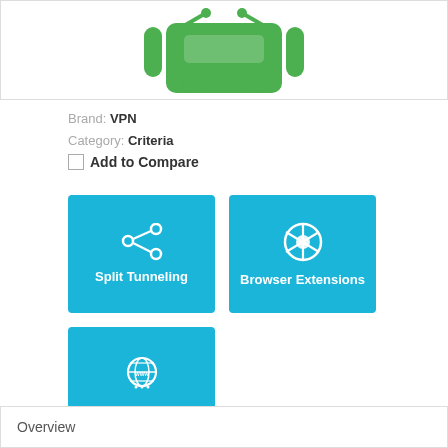[Figure (illustration): Green Android robot logo partially visible at top of page]
Brand: VPN
Category: Criteria
Add to Compare
[Figure (infographic): Split Tunneling card with share icon on cyan/blue background]
[Figure (infographic): Browser Extensions card with Chrome icon on cyan/blue background]
[Figure (infographic): Smart DNS card with WWW globe icon on cyan/blue background]
Overview